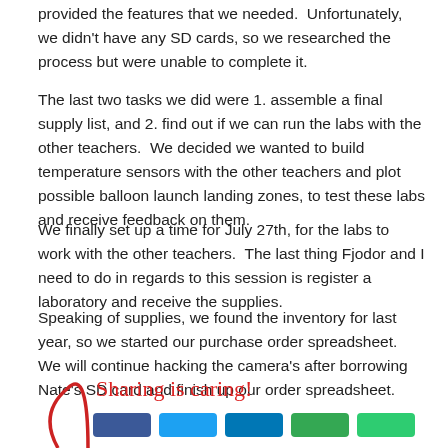provided the features that we needed.  Unfortunately, we didn't have any SD cards, so we researched the process but were unable to complete it.
The last two tasks we did were 1. assemble a final supply list, and 2. find out if we can run the labs with the other teachers.  We decided we wanted to build temperature sensors with the other teachers and plot possible balloon launch landing zones, to test these labs and receive feedback on them.
We finally set up a time for July 27th, for the labs to work with the other teachers.  The last thing Fjodor and I need to do in regards to this session is register a laboratory and receive the supplies.
Speaking of supplies, we found the inventory for last year, so we started our purchase order spreadsheet.  We will continue hacking the camera's after borrowing Nate's SD card and finish up our order spreadsheet.
[Figure (illustration): Handwritten red text 'Sharing is caring!' with a red partial circle/arc on the left, and a row of social media share buttons (Facebook blue, Twitter light blue, LinkedIn blue, Google+ red, Pinterest dark red) below.]